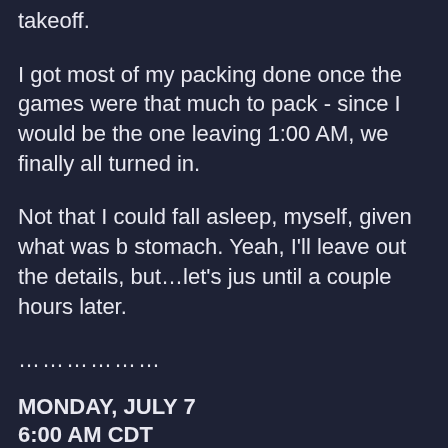takeoff.
I got most of my packing done once the games were that much to pack - since I would be the one leaving 1:00 AM, we finally all turned in.
Not that I could fall asleep, myself, given what was b stomach. Yeah, I'll leave out the details, but…let's jus until a couple hours later.
…………….
MONDAY, JULY 7
6:00 AM CDT
Unfortunately, since my flight was at 8:48 AM, I need the hotel shuttle would get me there in time to board. wonders for my already precarious health, and by the of there, hoping my stomach would hold for the journ
The trip held no surprises - good or bad - until I finally extremely shocked to run into Susan and Karine. Bot Man himself, whom they were dropping off there and to notice, despite sitting only a few meters away.